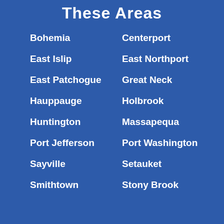These Areas
Bohemia
Centerport
East Islip
East Northport
East Patchogue
Great Neck
Hauppauge
Holbrook
Huntington
Massapequa
Port Jefferson
Port Washington
Sayville
Setauket
Smithtown
Stony Brook